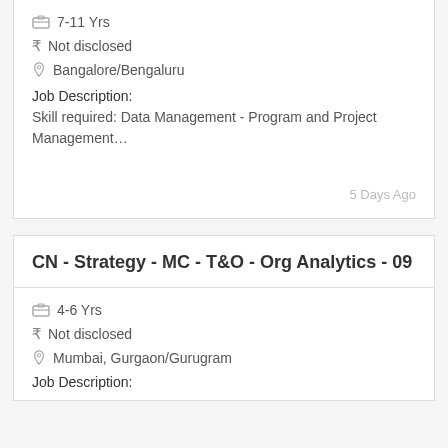7-11 Yrs
₹ Not disclosed
Bangalore/Bengaluru
Job Description:
Skill required: Data Management - Program and Project Management…
5 Days Ago
CN - Strategy - MC - T&O - Org Analytics - 09
4-6 Yrs
₹ Not disclosed
Mumbai, Gurgaon/Gurugram
Job Description: